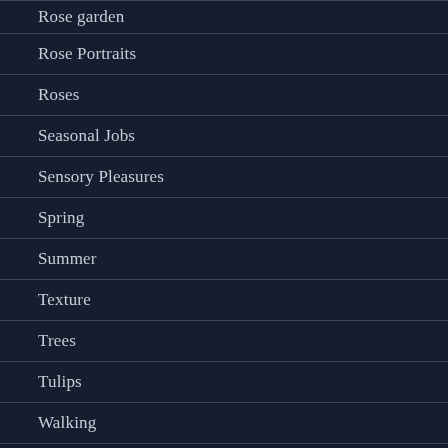Rose garden
Rose Portraits
Roses
Seasonal Jobs
Sensory Pleasures
Spring
Summer
Texture
Trees
Tulips
Walking
Winter